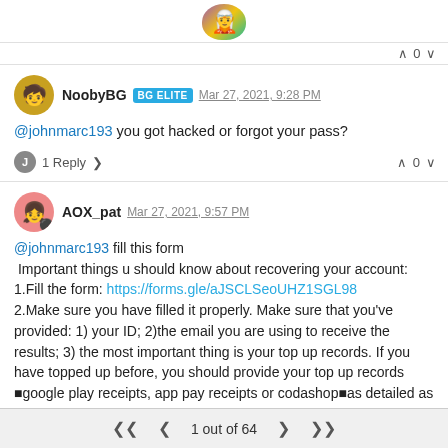[Figure (illustration): User avatar at top of page, colorful character icon]
∧ 0 ∨
NoobyBG BG ELITE Mar 27, 2021, 9:28 PM
@johnmarc193 you got hacked or forgot your pass?
J 1 Reply > ∧ 0 ∨
AOX_pat Mar 27, 2021, 9:57 PM
@johnmarc193 fill this form
 Important things u should know about recovering your account:
1.Fill the form: https://forms.gle/aJSCLSeoUHZ1SGL98
2.Make sure you have filled it properly. Make sure that you've provided: 1) your ID; 2)the email you are using to receive the results; 3) the most important thing is your top up records. If you have topped up before, you should provide your top up records [google play receipts, app pay receipts or codashop]as detailed as possible. Otherwise the account 100% WILL NOT be recovered
1 out of 64